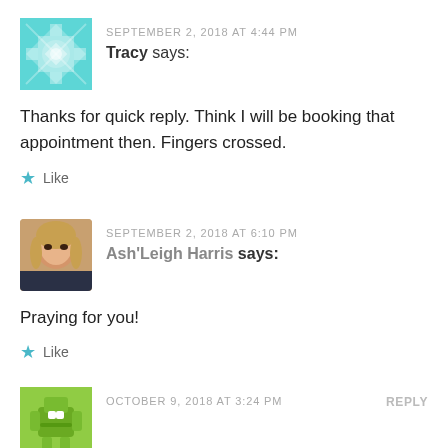[Figure (illustration): Teal/turquoise geometric avatar with cross/star pattern]
SEPTEMBER 2, 2018 AT 4:44 PM
Tracy says:
Thanks for quick reply. Think I will be booking that appointment then. Fingers crossed.
★ Like
[Figure (photo): Photo of woman with blonde hair]
SEPTEMBER 2, 2018 AT 6:10 PM
Ash'Leigh Harris says:
Praying for you!
★ Like
[Figure (illustration): Green geometric avatar with robot/character pattern]
OCTOBER 9, 2018 AT 3:24 PM
REPLY